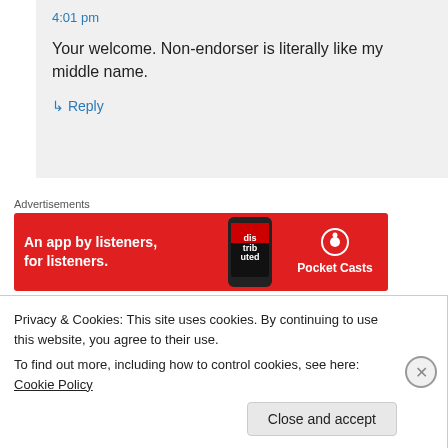4:01 pm
Your welcome. Non-endorser is literally like my middle name.
↳ Reply
Advertisements
[Figure (illustration): Pocket Casts advertisement banner: red background with text 'An app by listeners, for listeners.' and Pocket Casts logo with podcast app image]
GoofyEd on August 24, 2017 at 4:33 pm
Privacy & Cookies: This site uses cookies. By continuing to use this website, you agree to their use.
To find out more, including how to control cookies, see here: Cookie Policy